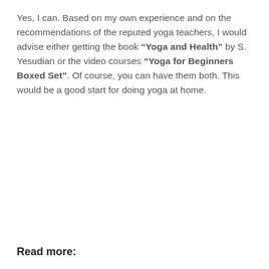Yes, I can. Based on my own experience and on the recommendations of the reputed yoga teachers, I would advise either getting the book “Yoga and Health” by S. Yesudian or the video courses “Yoga for Beginners Boxed Set”. Of course, you can have them both. This would be a good start for doing yoga at home.
Read more: